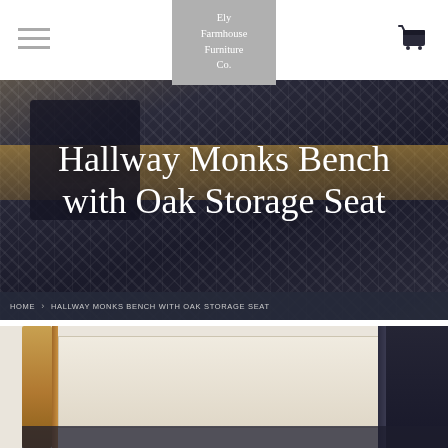Ely Farmhouse Furniture Co.
[Figure (photo): Hero image of a hallway monks bench with houndstooth upholstery and tan/gold woven seat cushion, with decorative black pillow, against a dark patterned background. Overlaid with title text 'Hallway Monks Bench with Oak Storage Seat']
Hallway Monks Bench with Oak Storage Seat
HOME › HALLWAY MONKS BENCH WITH OAK STORAGE SEAT
[Figure (photo): Product detail photo showing the oak storage bench from below, with warm wood tones on the left side panel and dark upholstered sections visible against a light cream background]